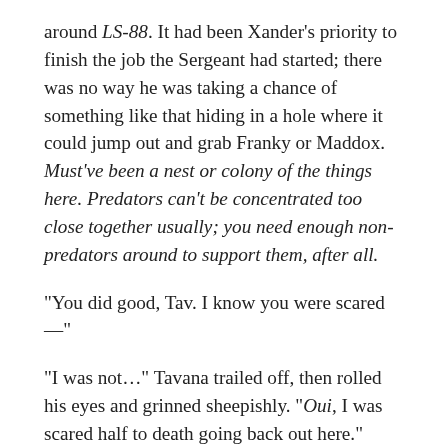around LS-88. It had been Xander's priority to finish the job the Sergeant had started; there was no way he was taking a chance of something like that hiding in a hole where it could jump out and grab Franky or Maddox. Must've been a nest or colony of the things here. Predators can't be concentrated too close together usually; you need enough non-predators around to support them, after all.
“You did good, Tav. I know you were scared —”
“I was not…” Tavana trailed off, then rolled his eyes and grinned sheepishly. “Oui, I was scared half to death going back out here.”
“I know you were,” Xander repeated. “And I saw your hands shaking at first. But you did everything just the right way, and now we’ve